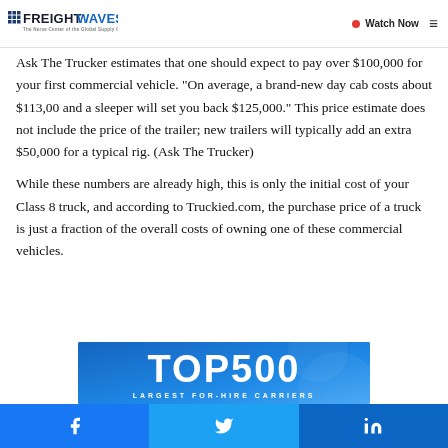FREIGHTWAVES — The Nerve Center of the Global Supply Chain | Watch Now
Ask The Trucker estimates that one should expect to pay over $100,000 for your first commercial vehicle. "On average, a brand-new day cab costs about $113,00 and a sleeper will set you back $125,000." This price estimate does not include the price of the trailer; new trailers will typically add an extra $50,000 for a typical rig. (Ask The Trucker)
While these numbers are already high, this is only the initial cost of your Class 8 truck, and according to Truckied.com, the purchase price of a truck is just a fraction of the overall costs of owning one of these commercial vehicles.
[Figure (infographic): FreightWaves TOP 500 Largest For-Hire Carriers promotional banner with blue gradient background and large white bold text.]
Facebook | Twitter | LinkedIn social share buttons